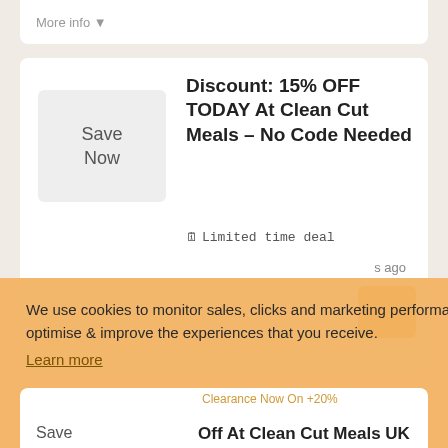More info ▼
Discount: 15% OFF TODAY At Clean Cut Meals - No Code Needed
🗓 Limited time deal
s ago
We use cookies to monitor sales, clicks and marketing performance as well as to optimise & improve the experiences that you receive.
Learn more
GOT IT!
Clearance Now On +20%
Off At Clean Cut Meals UK